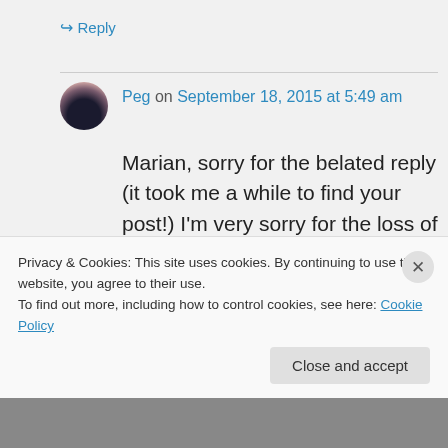↪ Reply
Peg on September 18, 2015 at 5:49 am
Marian, sorry for the belated reply (it took me a while to find your post!) I'm very sorry for the loss of your sister. May she rest in peace in God's comforting arms.
Privacy & Cookies: This site uses cookies. By continuing to use this website, you agree to their use. To find out more, including how to control cookies, see here: Cookie Policy
Close and accept